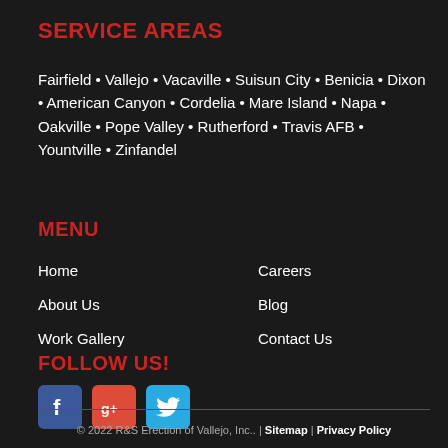SERVICE AREAS
Fairfield • Vallejo • Vacaville • Suisun City • Benicia • Dixon • American Canyon • Cordelia • Mare Island • Napa • Oakville • Pope Valley • Rutherford • Travis AFB • Yountville • Zinfandel
MENU
Home
Careers
About Us
Blog
Work Gallery
Contact Us
FOLLOW US!
[Figure (logo): Social media icons: Facebook (blue), Google+ (red), Twitter (blue)]
© 2022 R&S Erection of Vallejo, Inc.. | Sitemap | Privacy Policy